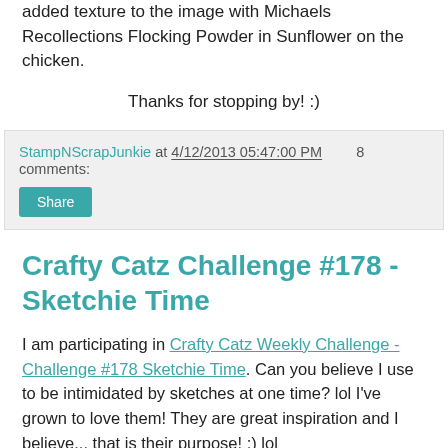added texture to the image with Michaels Recollections Flocking Powder in Sunflower on the chicken.
Thanks for stopping by! :)
StampNScrapJunkie at 4/12/2013 05:47:00 PM    3 comments:
Share
Crafty Catz Challenge #178 - Sketchie Time
I am participating in Crafty Catz Weekly Challenge - Challenge #178 Sketchie Time. Can you believe I use to be intimidated by sketches at one time? lol I've grown to love them! They are great inspiration and I believe... that is their purpose! ;) lol